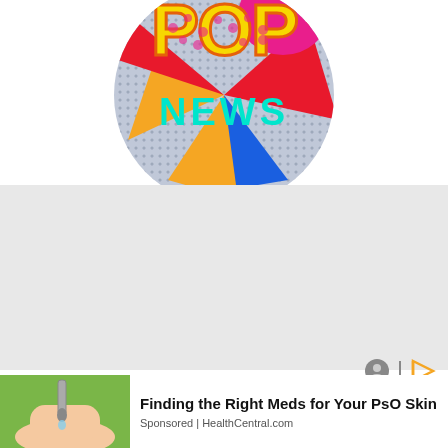[Figure (illustration): Circular pop art logo with colorful comic-book style design showing 'POP' text in yellow with polka dots and 'NEWS' in cyan/turquoise text, with vibrant colors including red, orange, pink, blue on a halftone dot background]
[Figure (other): Gray advertisement placeholder area]
[Figure (other): Ad icons: gray circle face icon and orange play-button style arrow icon]
[Figure (photo): Photo of hands with dropper/medicine over palm, green background - health advertisement image]
Finding the Right Meds for Your PsO Skin
Sponsored | HealthCentral.com